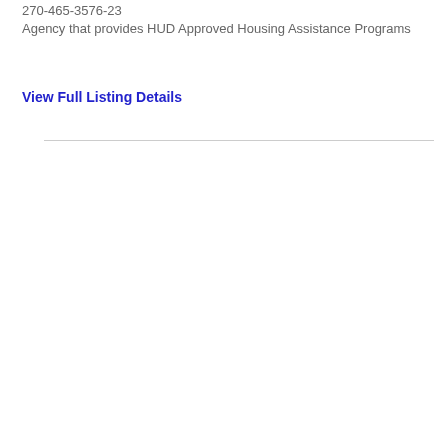270-465-3576-23
Agency that provides HUD Approved Housing Assistance Programs
View Full Listing Details